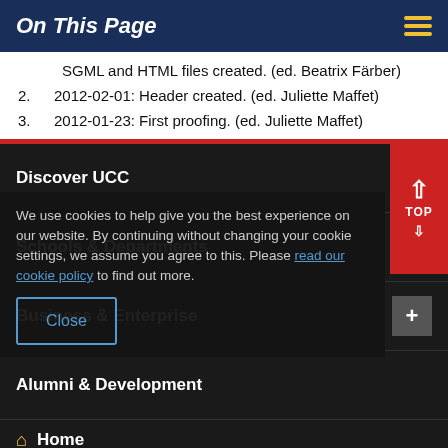On This Page
SGML and HTML files created. (ed. Beatrix Färber)
2. 2012-02-01: Header created. (ed. Juliette Maffet)
3. 2012-01-23: First proofing. (ed. Juliette Maffet)
Discover UCC
Schools & Departments
Business & Enterprise
We use cookies to help give you the best experience on our website. By continuing without changing your cookie settings, we assume you agree to this. Please read our cookie policy to find out more.
Alumni & Development
Close
Home